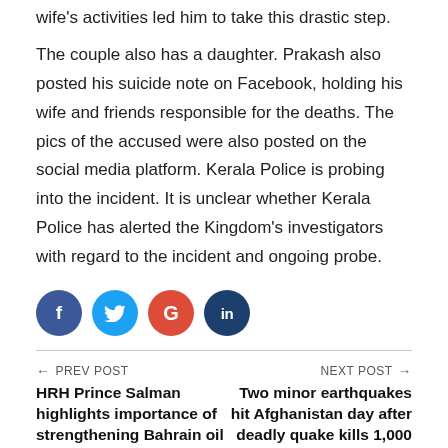wife's activities led him to take this drastic step.
The couple also has a daughter. Prakash also posted his suicide note on Facebook, holding his wife and friends responsible for the deaths. The pics of the accused were also posted on the social media platform. Kerala Police is probing into the incident. It is unclear whether Kerala Police has alerted the Kingdom's investigators with regard to the incident and ongoing probe.
[Figure (infographic): Social media share buttons: Facebook (blue circle, f), Twitter (light blue circle, bird icon), Google+ (red circle, G), LinkedIn (dark blue circle, in)]
← PREV POST
HRH Prince Salman highlights importance of strengthening Bahrain oil...
NEXT POST →
Two minor earthquakes hit Afghanistan day after deadly quake kills 1,000...